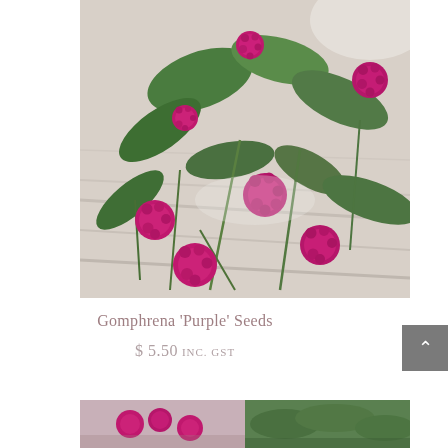[Figure (photo): Photo of Gomphrena 'Purple' Seeds — bright magenta/purple globe-shaped flowers with green leaves arranged on a grey wooden surface]
Gomphrena 'Purple' Seeds
$ 5.50 INC. GST
[Figure (photo): Bottom partial thumbnail images of similar flower products — left shows pink/purple flowers, right shows green foliage]